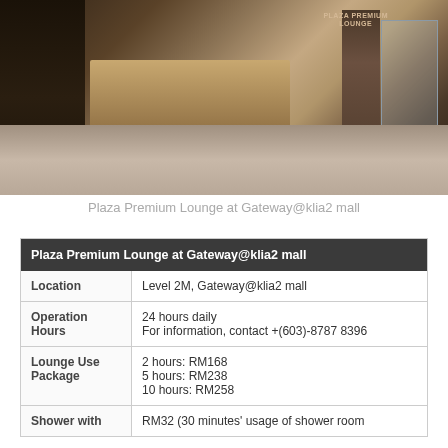[Figure (photo): Interior photo of Plaza Premium Lounge at Gateway@klia2 mall, showing a modern lounge entrance with dark wood panels, a marble pillar, service counter with warm lighting, and glass doors.]
Plaza Premium Lounge at Gateway@klia2 mall
| Plaza Premium Lounge at Gateway@klia2 mall |
| --- |
| Location | Level 2M, Gateway@klia2 mall |
| Operation Hours | 24 hours daily
For information, contact +(603)-8787 8396 |
| Lounge Use Package | 2 hours: RM168
5 hours: RM238
10 hours: RM258 |
| Shower with | RM32 (30 minutes' usage of shower room |